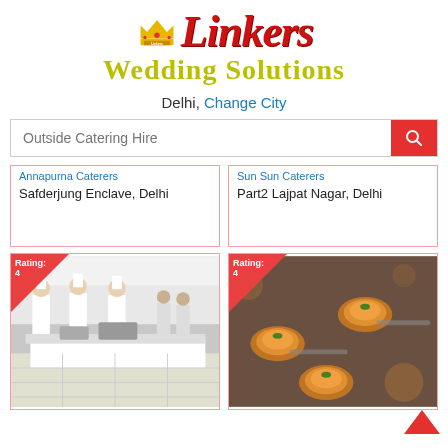[Figure (logo): Linkers Wedding Solutions logo with crown icon, red bold serif text 'Linkers' and yellow-green 'Wedding Solutions' subtitle]
Delhi, Change City
Outside Catering Hire
Annapurna Caterers
Safderjung Enclave, Delhi
Sun Sun Caterers
Part2 Lajpat Nagar, Delhi
[Figure (photo): Catering kitchen scene with chefs in white uniforms working at food stations, Rating: 4]
[Figure (photo): Close-up of decorated appetizers/finger food on spoons, Rating: 4]